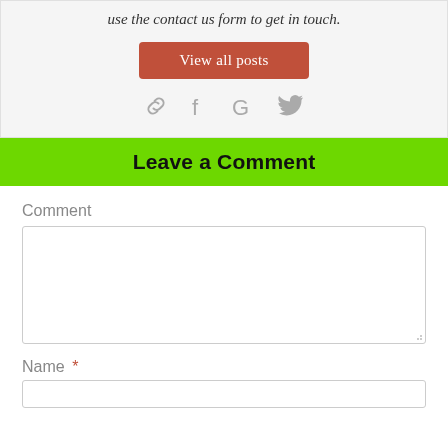use the contact us form to get in touch.
View all posts
[Figure (other): Social icons: chain link, Facebook f, Google G, Twitter bird]
Leave a Comment
Comment
Name *